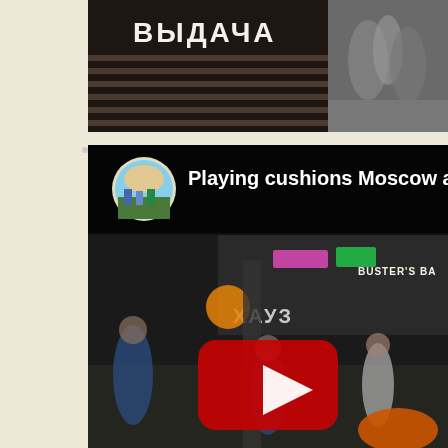[Figure (photo): Photo of a Moscow airport baggage area, showing a dark sign with Cyrillic text 'ВЫДАЧА' (meaning 'Baggage Claim') and horizontal stripes, with a partial view of another image on the right side.]
[Figure (screenshot): YouTube video thumbnail/player showing 'Playing cushions Moscow airport' with a circular channel avatar (showing people in front of Taj Mahal), YouTube play button overlay, and a dark scene of Moscow airport interior with people walking around, shops including signs in Cyrillic 'ХАУЗ' and 'BUSTER'S BA...' visible in the background.]